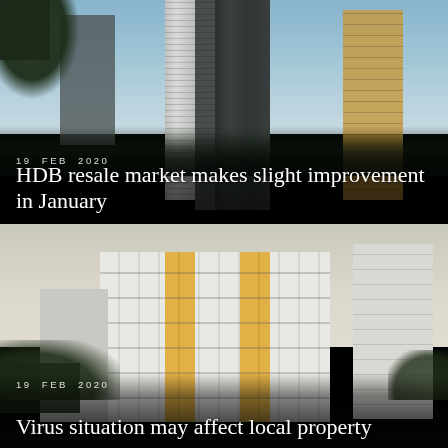[Figure (photo): Photograph of a tall modern HDB high-rise residential block in Singapore, shot from ground level looking upward, blue sky in background with tree branches visible on left.]
19  FEB  2020
HDB resale market makes slight improvement in January
[Figure (photo): Photograph of a low-rise HDB public housing block in Singapore with yellow and white facade, green trees in foreground, overcast sky behind.]
19  FEB  2020
Virus situation may affect local property